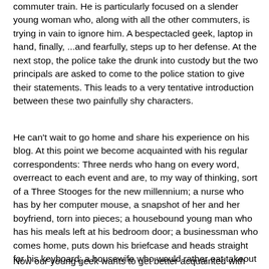commuter train. He is particularly focused on a slender young woman who, along with all the other commuters, is trying in vain to ignore him. A bespectacled geek, laptop in hand, finally, ...and fearfully, steps up to her defense. At the next stop, the police take the drunk into custody but the two principals are asked to come to the police station to give their statements. This leads to a very tentative introduction between these two painfully shy characters.
He can't wait to go home and share his experience on his blog. At this point we become acquainted with his regular correspondents: Three nerds who hang on every word, overreact to each event and are, to my way of thinking, sort of a Three Stooges for the new millennium; a nurse who has by her computer mouse, a snapshot of her and her boyfriend, torn into pieces; a housebound young man who has his meals left at his bedroom door; a businessman who comes home, puts down his briefcase and heads straight for his keyboard; a housewife who would rather eat takeout and surf the Internet, than cook.
Now our young geek wants to get better acquainted with the